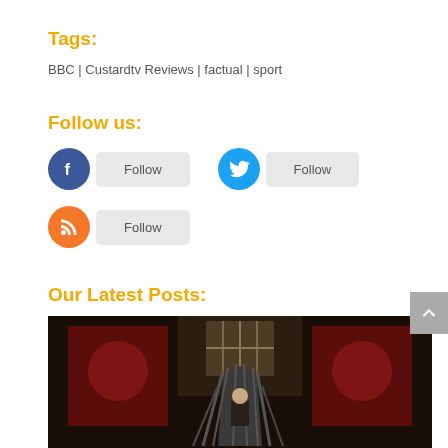Tags:
BBC | Custardtv Reviews | factual | sport
Follow us:
[Figure (infographic): Facebook Follow button with blue circle icon and grey Follow button]
[Figure (infographic): Twitter Follow button with blue circle icon and grey Follow button]
[Figure (infographic): RSS Follow button with orange circle icon and grey Follow button]
Our Latest Posts:
[Figure (photo): Game of Thrones Iron Throne scene with Targaryen banners]